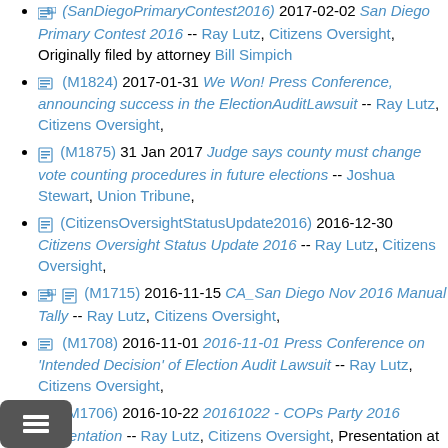(SanDiegoPrimaryContest2016) 2017-02-02 San Diego Primary Contest 2016 -- Ray Lutz, Citizens Oversight, Originally filed by attorney Bill Simpich
(M1824) 2017-01-31 We Won! Press Conference, announcing success in the ElectionAuditLawsuit -- Ray Lutz, Citizens Oversight,
(M1875) 31 Jan 2017 Judge says county must change vote counting procedures in future elections -- Joshua Stewart, Union Tribune,
(CitizensOversightStatusUpdate2016) 2016-12-30 Citizens Oversight Status Update 2016 -- Ray Lutz, Citizens Oversight,
(M1715) 2016-11-15 CA_San Diego Nov 2016 Manual Tally -- Ray Lutz, Citizens Oversight,
(M1708) 2016-11-01 2016-11-01 Press Conference on 'Intended Decision' of Election Audit Lawsuit -- Ray Lutz, Citizens Oversight,
(M1706) 2016-10-22 20161022 - COPs Party 2016 Presentation -- Ray Lutz, Citizens Oversight, Presentation at the 2016 COPs Party.
(M1703) 2016-10-03 2016 10 03 Pre-trial Election